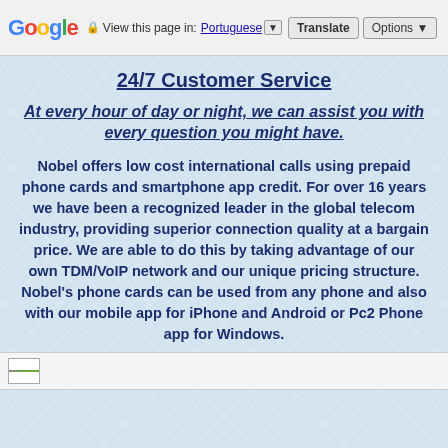Google | View this page in: Portuguese ▼ | Translate | Options ▼
24/7 Customer Service
At every hour of day or night, we can assist you with every question you might have.
Nobel offers low cost international calls using prepaid phone cards and smartphone app credit. For over 16 years we have been a recognized leader in the global telecom industry, providing superior connection quality at a bargain price. We are able to do this by taking advantage of our own TDM/VoIP network and our unique pricing structure. Nobel's phone cards can be used from any phone and also with our mobile app for iPhone and Android or Pc2 Phone app for Windows.
[Figure (other): Broken image placeholder icon at bottom of page]